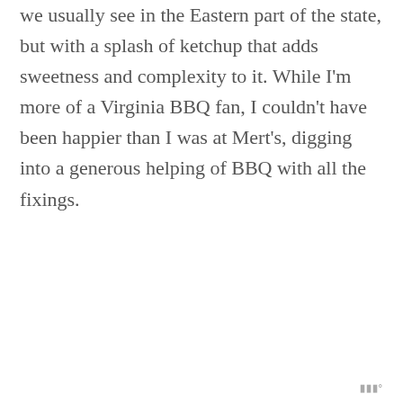we usually see in the Eastern part of the state, but with a splash of ketchup that adds sweetness and complexity to it. While I'm more of a Virginia BBQ fan, I couldn't have been happier than I was at Mert's, digging into a generous helping of BBQ with all the fixings.
MMº